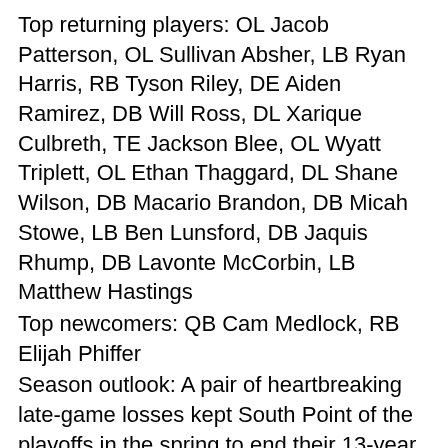Top returning players: OL Jacob Patterson, OL Sullivan Absher, LB Ryan Harris, RB Tyson Riley, DE Aiden Ramirez, DB Will Ross, DL Xarique Culbreth, TE Jackson Blee, OL Wyatt Triplett, OL Ethan Thaggard, DL Shane Wilson, DB Macario Brandon, DB Micah Stowe, LB Ben Lunsford, DB Jaquis Rhump, DB Lavonte McCorbin, LB Matthew Hastings
Top newcomers: QB Cam Medlock, RB Elijah Phiffer
Season outlook: A pair of heartbreaking late-game losses kept South Point of the playoffs in the spring to end their 13-year postseason streak. With 17 returning starters, the Red Raiders will be determined to get back into the playoffs and make some noise in their first season back in the 3A ranks since 2016.
All-time record: 420-188-9 (since 1969)
Last 5 seasons: 44-18
Schedule:
Aug. 20 Lincolnton
Aug. 27 at East Gaston